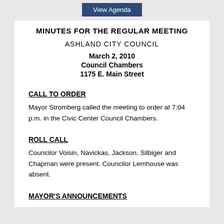View Agenda
MINUTES FOR THE REGULAR MEETING
ASHLAND CITY COUNCIL
March 2, 2010
Council Chambers
1175 E. Main Street
CALL TO ORDER
Mayor Stromberg called the meeting to order at 7:04 p.m. in the Civic Center Council Chambers.
ROLL CALL
Councilor Voisin, Navickas, Jackson, Silbiger and Chapman were present. Councilor Lemhouse was absent.
MAYOR'S ANNOUNCEMENTS